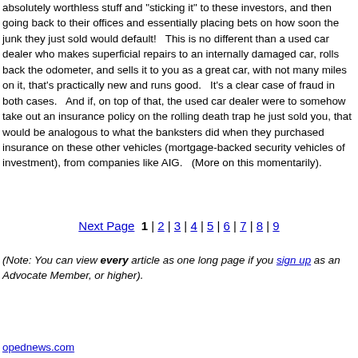absolutely worthless stuff and "sticking it" to these investors, and then going back to their offices and essentially placing bets on how soon the junk they just sold would default!   This is no different than a used car dealer who makes superficial repairs to an internally damaged car, rolls back the odometer, and sells it to you as a great car, with not many miles on it, that's practically new and runs good.   It's a clear case of fraud in both cases.   And if, on top of that, the used car dealer were to somehow take out an insurance policy on the rolling death trap he just sold you, that would be analogous to what the banksters did when they purchased insurance on these other vehicles (mortgage-backed security vehicles of investment), from companies like AIG.   (More on this momentarily).
Next Page  1 | 2 | 3 | 4 | 5 | 6 | 7 | 8 | 9
(Note: You can view every article as one long page if you sign up as an Advocate Member, or higher).
opednews.com